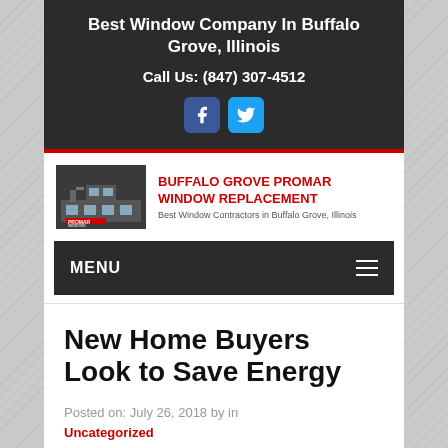Best Window Company In Buffalo Grove, Illinois
Call Us: (847) 307-4512
[Figure (logo): Buffalo Grove Promar Window Replacement logo with company name in red and tagline 'Best Window Contractors in Buffalo Grove, Illinois']
MENU
New Home Buyers Look to Save Energy
Posted on: July 26, 2018 by in
Uncategorized